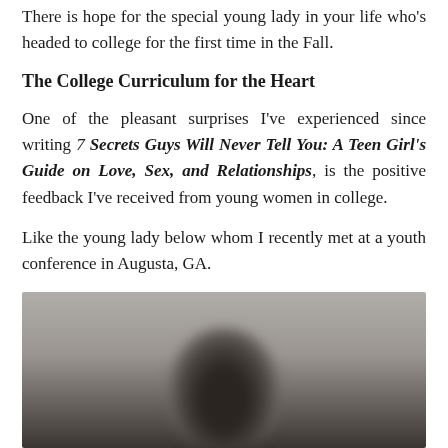There is hope for the special young lady in your life who's headed to college for the first time in the Fall.
The College Curriculum for the Heart
One of the pleasant surprises I've experienced since writing 7 Secrets Guys Will Never Tell You: A Teen Girl's Guide on Love, Sex, and Relationships, is the positive feedback I've received from young women in college.
Like the young lady below whom I recently met at a youth conference in Augusta, GA.
[Figure (photo): A blurred/obscured photo of a young woman, partially visible, taken at a youth conference in Augusta, GA.]